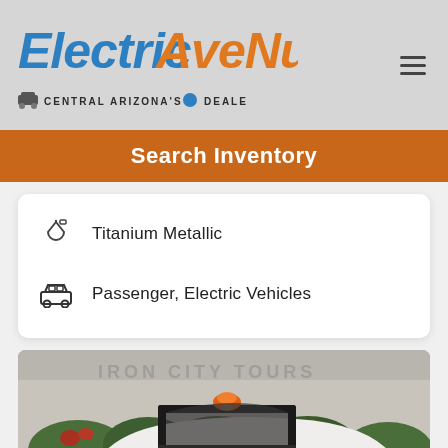[Figure (logo): ElectricAveNu logo — blue italic 'Electric' and orange italic 'AveNu' with subtitle 'Central Arizona's Dealer' and a small vehicle icon]
Search Inventory
Titanium Metallic
Passenger, Electric Vehicles
[Figure (photo): White electric vehicle with open roll-bar frame, orange beacon light on top, black seats visible, parked in a lot with shrubs and a building in the background]